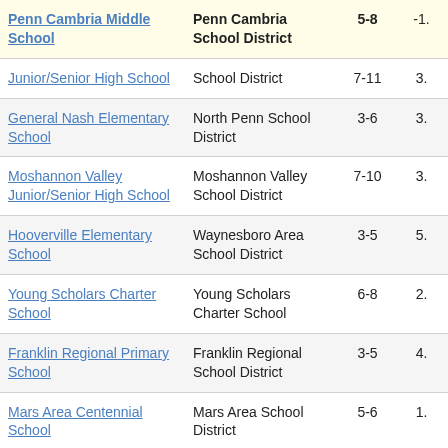| School | District | Grades | Value |
| --- | --- | --- | --- |
| Penn Cambria Middle School | Penn Cambria School District | 5-8 | -1. |
| Junior/Senior High School | School District | 7-11 | 3. |
| General Nash Elementary School | North Penn School District | 3-6 | 3. |
| Moshannon Valley Junior/Senior High School | Moshannon Valley School District | 7-10 | 3. |
| Hooverville Elementary School | Waynesboro Area School District | 3-5 | 5. |
| Young Scholars Charter School | Young Scholars Charter School | 6-8 | 2. |
| Franklin Regional Primary School | Franklin Regional School District | 3-5 | 4. |
| Mars Area Centennial School | Mars Area School District | 5-6 | 1. |